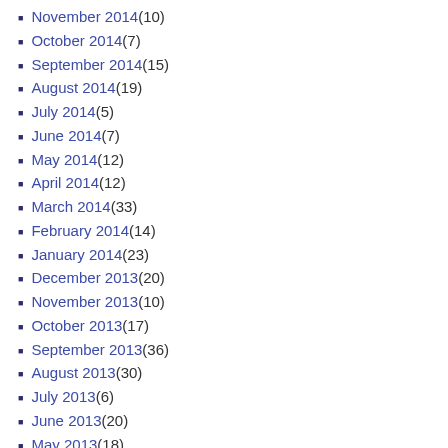November 2014 (10)
October 2014 (7)
September 2014 (15)
August 2014 (19)
July 2014 (5)
June 2014 (7)
May 2014 (12)
April 2014 (12)
March 2014 (33)
February 2014 (14)
January 2014 (23)
December 2013 (20)
November 2013 (10)
October 2013 (17)
September 2013 (36)
August 2013 (30)
July 2013 (6)
June 2013 (20)
May 2013 (18)
April 2013 (17)
March 2013 (25)
February 2013 (23)